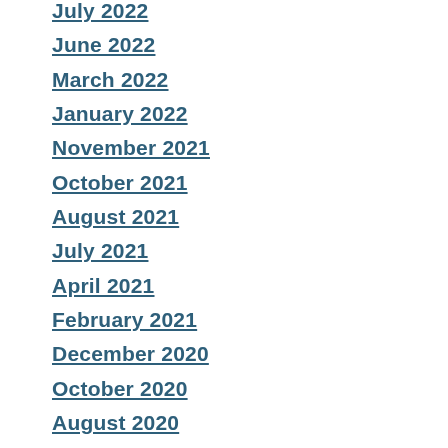July 2022
June 2022
March 2022
January 2022
November 2021
October 2021
August 2021
July 2021
April 2021
February 2021
December 2020
October 2020
August 2020
July 2020
June 2020
January 2020
December 2019
November 2019
September 2019